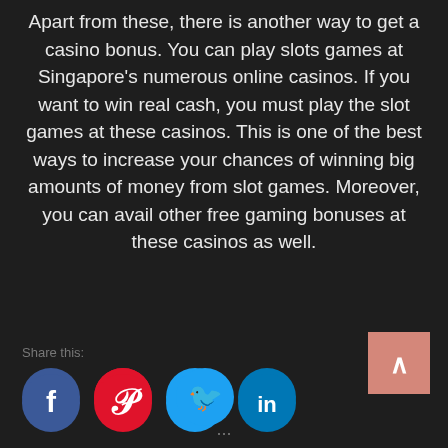Apart from these, there is another way to get a casino bonus. You can play slots games at Singapore's numerous online casinos. If you want to win real cash, you must play the slot games at these casinos. This is one of the best ways to increase your chances of winning big amounts of money from slot games. Moreover, you can avail other free gaming bonuses at these casinos as well.
Share this:
[Figure (infographic): Social media share icons: Facebook (blue circle), Pinterest (red circle), Twitter (teal circle), LinkedIn (blue circle), and a back-to-top salmon/pink button with an up arrow on the right.]
...